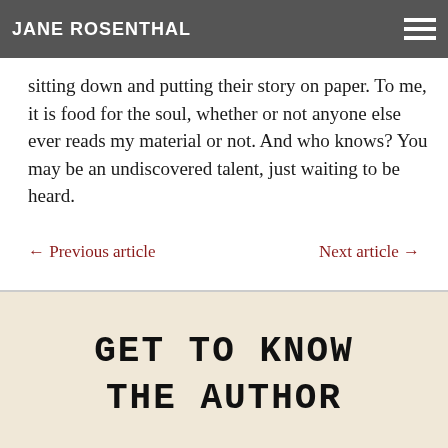JANE ROSENTHAL
sitting down and putting their story on paper. To me, it is food for the soul, whether or not anyone else ever reads my material or not. And who knows? You may be an undiscovered talent, just waiting to be heard.
← Previous article    Next article →
GET TO KNOW THE AUTHOR